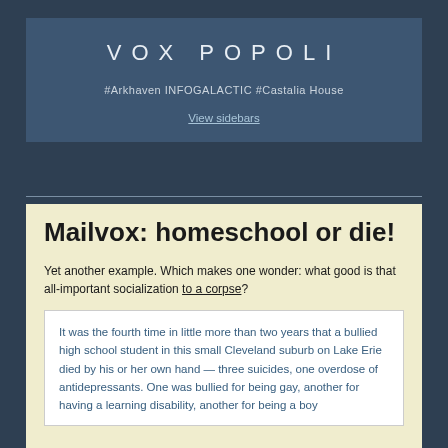VOX POPOLI
#Arkhaven INFOGALACTIC #Castalia House
View sidebars
Mailvox: homeschool or die!
Yet another example. Which makes one wonder: what good is that all-important socialization to a corpse?
It was the fourth time in little more than two years that a bullied high school student in this small Cleveland suburb on Lake Erie died by his or her own hand — three suicides, one overdose of antidepressants. One was bullied for being gay, another for having a learning disability, another for being a boy